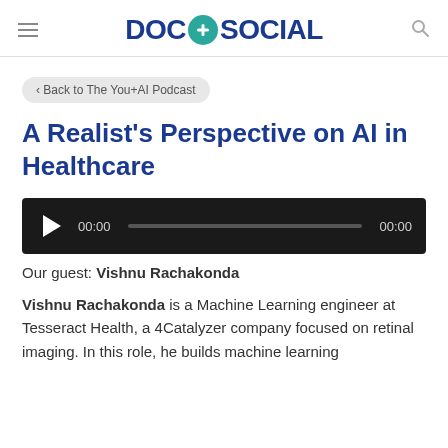DOC+SOCIAL
‹ Back to The You+AI Podcast
A Realist's Perspective on AI in Healthcare
[Figure (other): Audio player with play button, time display 00:00, progress bar, and end time 00:00]
Our guest: Vishnu Rachakonda
Vishnu Rachakonda is a Machine Learning engineer at Tesseract Health, a 4Catalyzer company focused on retinal imaging. In this role, he builds machine learning